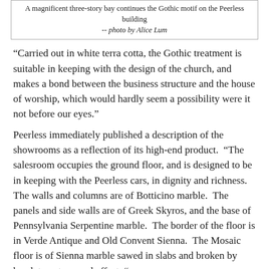A magnificent three-story bay continues the Gothic motif on the Peerless building -- photo by Alice Lum
“Carried out in white terra cotta, the Gothic treatment is suitable in keeping with the design of the church, and makes a bond between the business structure and the house of worship, which would hardly seem a possibility were it not before our eyes.”
Peerless immediately published a description of the showrooms as a reflection of its high-end product.  “The salesroom occupies the ground floor, and is designed to be in keeping with the Peerless cars, in dignity and richness.  The walls and columns are of Botticino marble.  The panels and side walls are of Greek Skyros, and the base of Pennsylvania Serpentine marble.  The border of the floor is in Verde Antique and Old Convent Sienna.  The Mosaic floor is of Sienna marble sawed in slabs and broken by hand, to get a novel effect. “